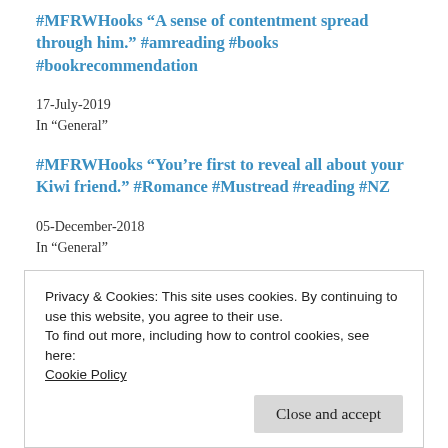#MFRWHooks “A sense of contentment spread through him.” #amreading #books #bookrecommendation
17-July-2019
In “General”
#MFRWHooks “You’re first to reveal all about your Kiwi friend.” #Romance #Mustread #reading #NZ
05-December-2018
In “General”
#SnippetSunday – “The groom’s nervous.” – #romance #love #read #Free
Privacy & Cookies: This site uses cookies. By continuing to use this website, you agree to their use.
To find out more, including how to control cookies, see here:
Cookie Policy
Close and accept